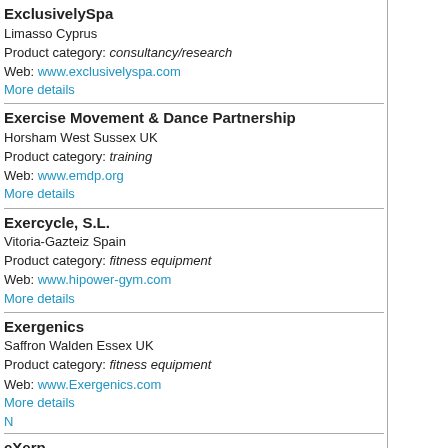ExclusivelySpa
Limasso Cyprus
Product category: consultancy/research
Web: www.exclusivelyspa.com
More details
Exercise Movement & Dance Partnership
Horsham West Sussex UK
Product category: training
Web: www.emdp.org
More details
Exercycle, S.L.
Vitoria-Gazteiz Spain
Product category: fitness equipment
Web: www.hipower-gym.com
More details
Exergenics
Saffron Walden Essex UK
Product category: fitness equipment
Web: www.Exergenics.com
More details
N
eXerp
Copenhagen S Denmark
Product category: computer systems/software
Web: www.exerp.com